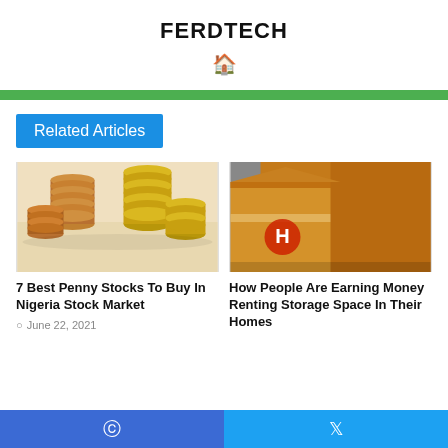FERDTECH
Related Articles
[Figure (photo): Stacks of copper and gold coins photographed on a white background]
7 Best Penny Stocks To Buy In Nigeria Stock Market
June 22, 2021
[Figure (photo): Cardboard shipping boxes stacked, one with an H logo visible]
How People Are Earning Money Renting Storage Space In Their Homes